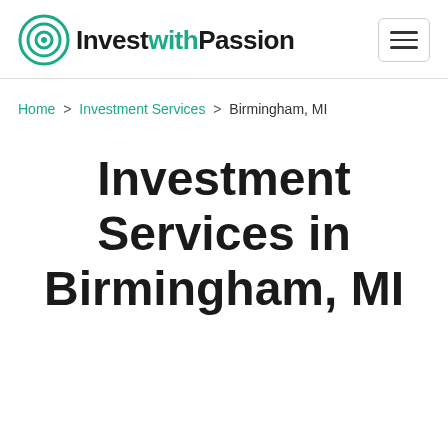InvestwithPassion [logo] [hamburger menu]
Home > Investment Services > Birmingham, MI
Investment Services in Birmingham, MI